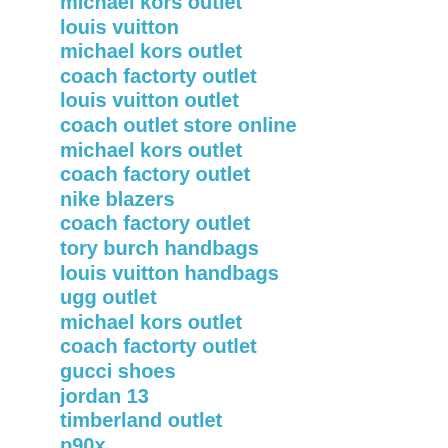michael kors outlet
louis vuitton
michael kors outlet
coach factorty outlet
louis vuitton outlet
coach outlet store online
michael kors outlet
coach factory outlet
nike blazers
coach factory outlet
tory burch handbags
louis vuitton handbags
ugg outlet
michael kors outlet
coach factorty outlet
gucci shoes
jordan 13
timberland outlet
p90x
louis vuitton
kate spade handbags
michael kors handbags
cheap jordan shoes